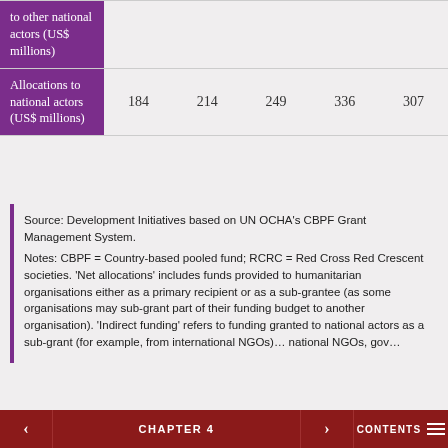|  |  |  |  |  |  |
| --- | --- | --- | --- | --- | --- |
| to other national actors (US$ millions) |  |  |  |  |  |
| Allocations to national actors (US$ millions) | 184 | 214 | 249 | 336 | 307 |
Source: Development Initiatives based on UN OCHA's CBPF Grant Management System.
Notes: CBPF = Country-based pooled fund; RCRC = Red Cross Red Crescent societies. 'Net allocations' includes funds provided to humanitarian organisations either as a primary recipient or as a sub-grantee (as some organisations may sub-grant part of their funding budget to another organisation). 'Indirect funding' refers to funding granted to national actors as a sub-grant (for example, from international NGOs) ... national NGOs, gov...
< CHAPTER 4 > CONTENTS